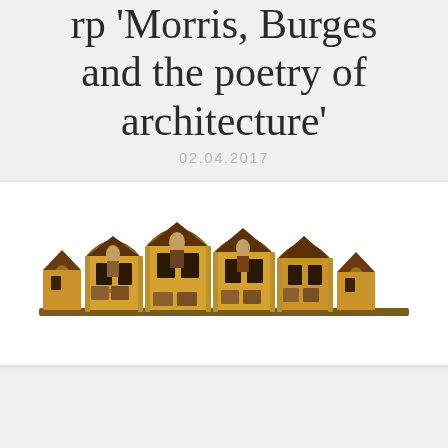rp 'Morris, Burges and the poetry of architecture'
02.04.2017
[Figure (photo): A decorative architectural model or artwork depicting a row of Gothic-revival style arched building facades in gold and brown tones, with intricate carved details, pointed arches, and small figurative panels.]